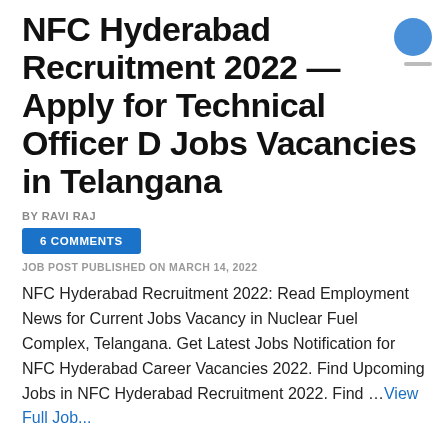NFC Hyderabad Recruitment 2022 — Apply for Technical Officer D Jobs Vacancies in Telangana
BY RAVI RAJ
6 COMMENTS
JOB POST PUBLISHED ON MARCH 14, 2022
NFC Hyderabad Recruitment 2022: Read Employment News for Current Jobs Vacancy in Nuclear Fuel Complex, Telangana. Get Latest Jobs Notification for NFC Hyderabad Career Vacancies 2022. Find Upcoming Jobs in NFC Hyderabad Recruitment 2022. Find … View Full Job...